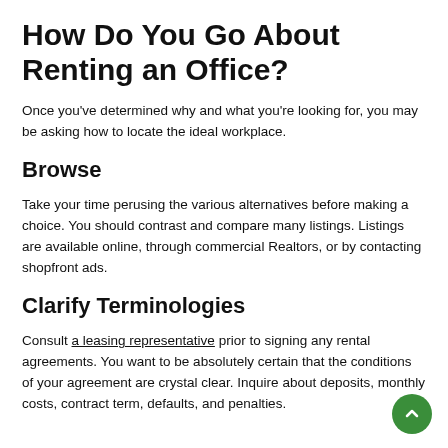How Do You Go About Renting an Office?
Once you've determined why and what you're looking for, you may be asking how to locate the ideal workplace.
Browse
Take your time perusing the various alternatives before making a choice. You should contrast and compare many listings. Listings are available online, through commercial Realtors, or by contacting shopfront ads.
Clarify Terminologies
Consult a leasing representative prior to signing any rental agreements. You want to be absolutely certain that the conditions of your agreement are crystal clear. Inquire about deposits, monthly costs, contract term, defaults, and penalties.